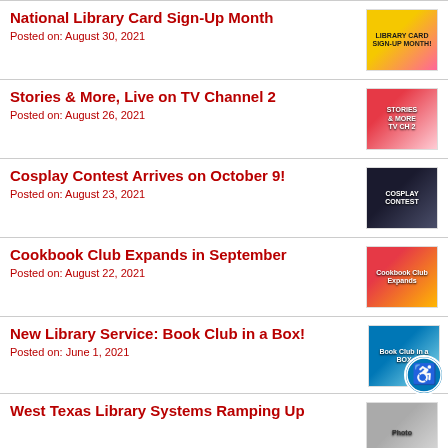National Library Card Sign-Up Month
Posted on: August 30, 2021
Stories & More, Live on TV Channel 2
Posted on: August 26, 2021
Cosplay Contest Arrives on October 9!
Posted on: August 23, 2021
Cookbook Club Expands in September
Posted on: August 22, 2021
New Library Service: Book Club in a Box!
Posted on: June 1, 2021
West Texas Library Systems Ramping Up